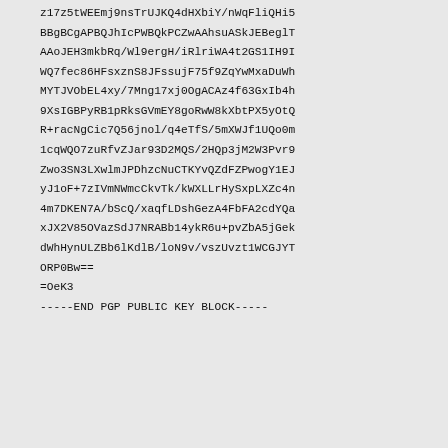z17z5tWEEmj9nsTrUJKQ4dHXbiY/nWqFliQHi5BBgBCgAPBQJhIcPWBQkPCZwAAhsuASkJEBeglTCAAoJEH3mkbRq/Wl9ergH/iRlriWA4t2GS1IH9IhWQ7fec86HFsxznS8JFssujF75f9ZqYwMxaDuWh7MYTJVObEL4xy/7Mng17xj0OgACAz4f63GxIb4h9XsIGBPyRB1pRksGVmEY8goRwW8kXbtPX5yOtQAR+racNgCic7Q56jnol/q4eTfS/5mXWJf1UQo0mh1cqWQO7zuRfvZJar93D2MQS/2HQp3jM2W3Pvr9CZwo3SN3LXwlmJPDhzcNuCTKYvQZdFZPwogY1EJCyJ1oF+7zIVmNWmcCkvTk/kWXLLrHySxpLXZc4nd4m7DKEN7A/bScQ/xaqfLDshGezA4FbFA2cdYQabxJX2V85OVazSdJ7NRABb14ykR6u+pvZbA5jGekIdWhHynULZBb6lKdlB/loN9v/vszUvzt1WCGJYTcORP0Bw===OeK3-----END PGP PUBLIC KEY BLOCK-----